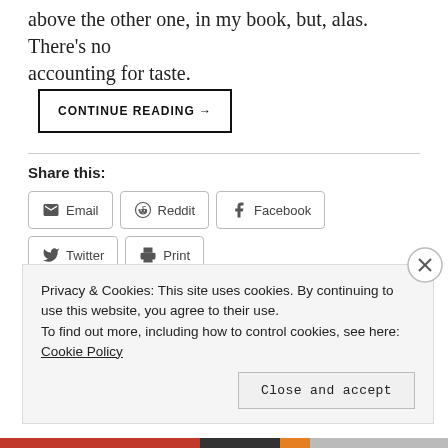above the other one, in my book, but, alas. There's no accounting for taste.
CONTINUE READING →
Share this:
Email  Reddit  Facebook  Twitter  Print  Tumblr  Pinterest
Loading...
Privacy & Cookies: This site uses cookies. By continuing to use this website, you agree to their use. To find out more, including how to control cookies, see here: Cookie Policy
Close and accept